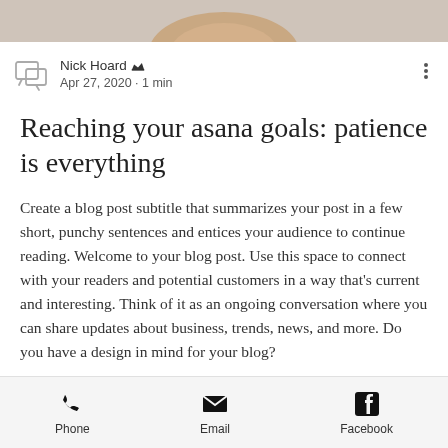[Figure (photo): Cropped image at top of page showing a hand against a light background]
Nick Hoard 👑 Apr 27, 2020 · 1 min
Reaching your asana goals: patience is everything
Create a blog post subtitle that summarizes your post in a few short, punchy sentences and entices your audience to continue reading. Welcome to your blog post. Use this space to connect with your readers and potential customers in a way that's current and interesting. Think of it as an ongoing conversation where you can share updates about business, trends, news, and more. Do you have a design in mind for your blog?
Phone  Email  Facebook